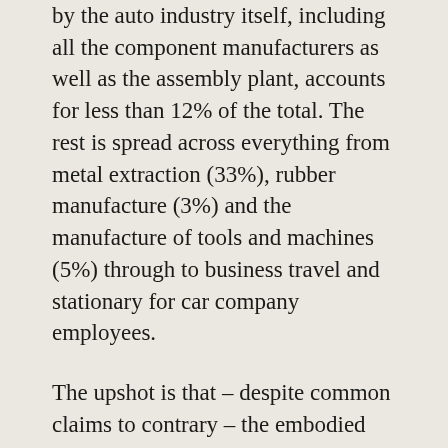by the auto industry itself, including all the component manufacturers as well as the assembly plant, accounts for less than 12% of the total. The rest is spread across everything from metal extraction (33%), rubber manufacture (3%) and the manufacture of tools and machines (5%) through to business travel and stationary for car company employees.
The upshot is that – despite common claims to contrary – the embodied emissions of a car typically rival the exhaust pipe emissions over its entire lifetime. Indeed, for each mile driven, the emissions from the manufacture of a top-of-the-range Land Rover Discovery that ends up being scrapped after 100,000